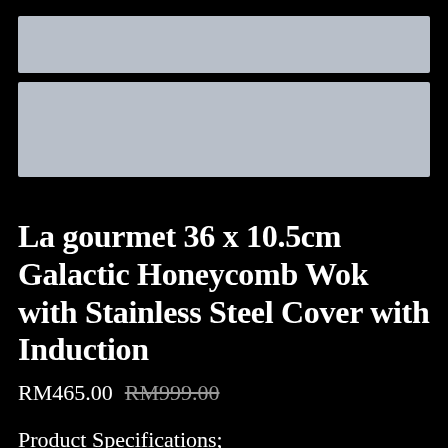[Figure (photo): Product image placeholder (light gray rectangle, top)]
[Figure (photo): Product image placeholder (light gray rectangle, bottom)]
La gourmet 36 x 10.5cm Galactic Honeycomb Wok with Stainless Steel Cover with Induction
RM465.00  RM999.00
Product Specifications;
Height  :  24cm
Length :  48cm